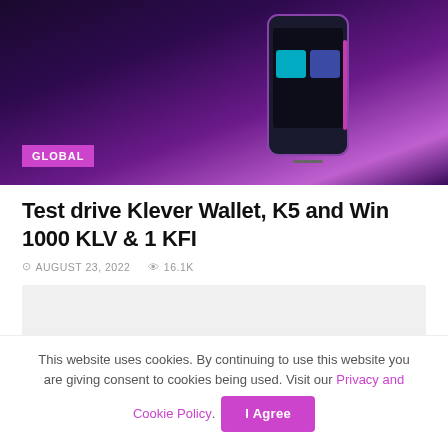[Figure (photo): Hero image of a smartphone with colorful app tiles on screen, displayed against a dark purple/magenta gradient background with glowing light effects]
GLOBAL
Test drive Klever Wallet, K5 and Win 1000 KLV & 1 KFI
AUGUST 23, 2022   16.1K
[Figure (other): Advertisement placeholder area (light gray box)]
This website uses cookies. By continuing to use this website you are giving consent to cookies being used. Visit our Privacy and Cookie Policy. I Agree